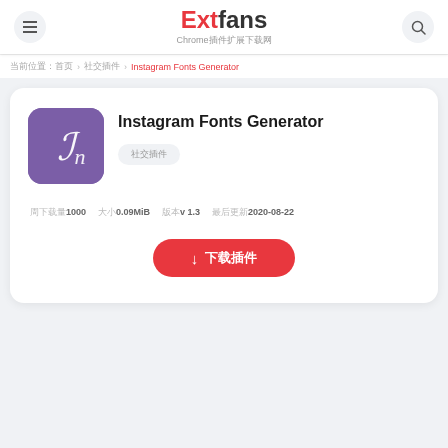Extfans Chrome插件扩展下载网
当前位置: 首页 › 社交插件 › Instagram Fonts Generator
Instagram Fonts Generator
社交插件
周下载量1000  大小0.09MiB  版本v 1.3  最后更新2020-08-22
↓ 下载插件